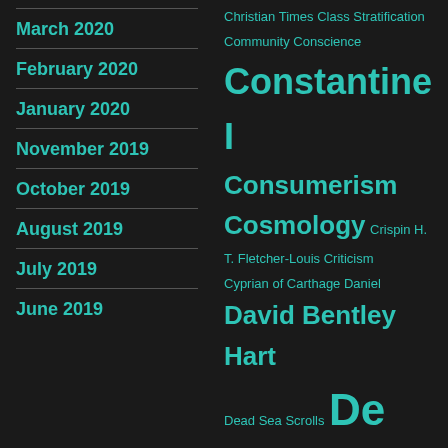March 2020
February 2020
January 2020
November 2019
October 2019
August 2019
July 2019
June 2019
Christian Times Class Stratification Community Conscience Constantine I Consumerism Cosmology Crispin H. T. Fletcher-Louis Criticism Cyprian of Carthage Daniel David Bentley Hart Dead Sea Scrolls De Civitate Dei Contra Paganos De Doctrina Christiana Denys Deuteronomy Diocletian Disenchantment